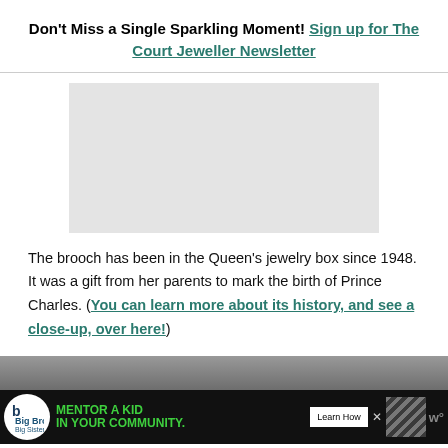Don't Miss a Single Sparkling Moment! Sign up for The Court Jeweller Newsletter
[Figure (other): Advertisement placeholder (grey rectangle)]
The brooch has been in the Queen's jewelry box since 1948. It was a gift from her parents to mark the birth of Prince Charles. (You can learn more about its history, and see a close-up, over here!)
[Figure (photo): Photo strip showing two people outdoors, partially visible, with an ad banner overlay reading 'MENTOR A KID IN YOUR COMMUNITY' with Big Brothers Big Sisters logo and a 'Learn How' button]